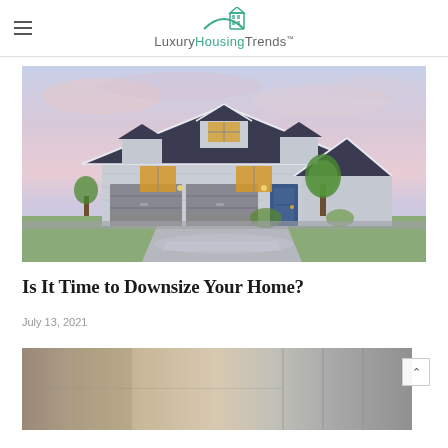LuxuryHousingTrends
[Figure (photo): Exterior photograph of a large luxury single-family home at dusk with dark roof, three-car garage, lit windows, and tree in front yard with purple and pink sky background]
Is It Time to Downsize Your Home?
July 13, 2021
[Figure (photo): Partial view of an interior or another home photo at the bottom of the page, cropped]